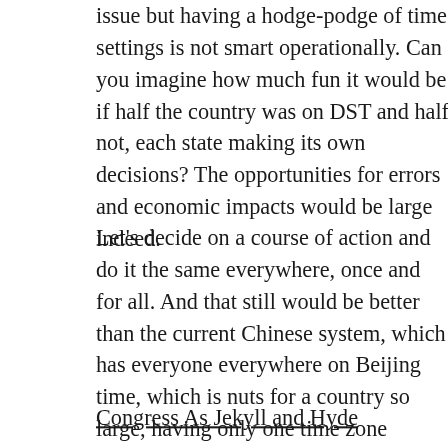issue but having a hodge-podge of time settings is not smart operationally. Can you imagine how much fun it would be if half the country was on DST and half not, each state making its own decisions? The opportunities for errors and economic impacts would be large indeed.
Let's decide on a course of action and do it the same everywhere, once and for all. And that still would be better than the current Chinese system, which has everyone everywhere on Beijing time, which is nuts for a country so large, having only one time zone
Congress As Jekyll and Hyde